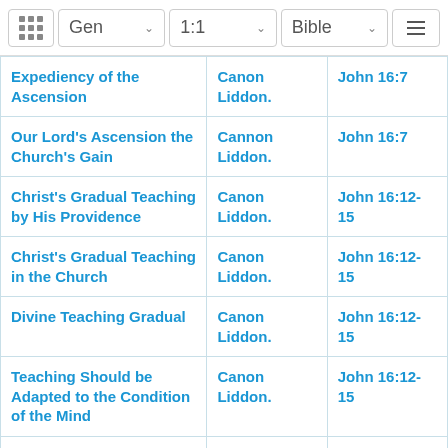Gen  1:1  Bible
| Title | Author | Scripture |
| --- | --- | --- |
| Expediency of the Ascension | Canon Liddon. | John 16:7 |
| Our Lord's Ascension the Church's Gain | Cannon Liddon. | John 16:7 |
| Christ's Gradual Teaching by His Providence | Canon Liddon. | John 16:12-15 |
| Christ's Gradual Teaching in the Church | Canon Liddon. | John 16:12-15 |
| Divine Teaching Gradual | Canon Liddon. | John 16:12-15 |
| Teaching Should be Adapted to the Condition of the Mind | Canon Liddon. | John 16:12-15 |
| Christ's Conquest of the World | Canon Liddon. | John 16:33 |
| Sanctification Through... | Canon... | John 17:17 |